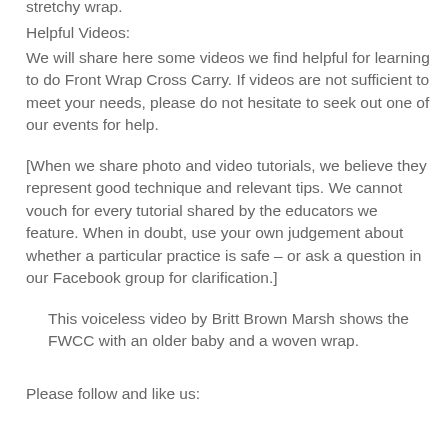stretchy wrap.
Helpful Videos:
We will share here some videos we find helpful for learning to do Front Wrap Cross Carry. If videos are not sufficient to meet your needs, please do not hesitate to seek out one of our events for help.
[When we share photo and video tutorials, we believe they represent good technique and relevant tips. We cannot vouch for every tutorial shared by the educators we feature. When in doubt, use your own judgement about whether a particular practice is safe – or ask a question in our Facebook group for clarification.]
This voiceless video by Britt Brown Marsh shows the FWCC with an older baby and a woven wrap.
Please follow and like us: